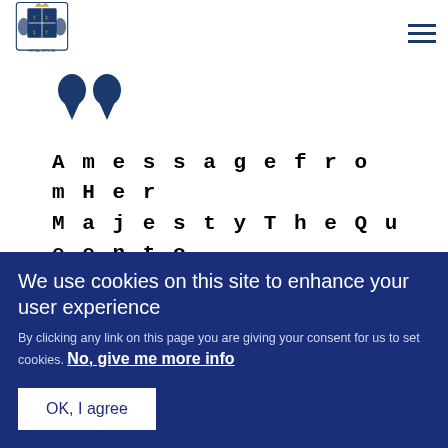[Figure (logo): UK Royal Coat of Arms logo in dark blue]
[Figure (other): Large decorative closing quotation marks in dark navy blue]
A message from Her Majesty The Queen to mark Greece's Bicentenary Independence Day
We use cookies on this site to enhance your user experience
By clicking any link on this page you are giving your consent for us to set cookies. No, give me more info
OK, I agree